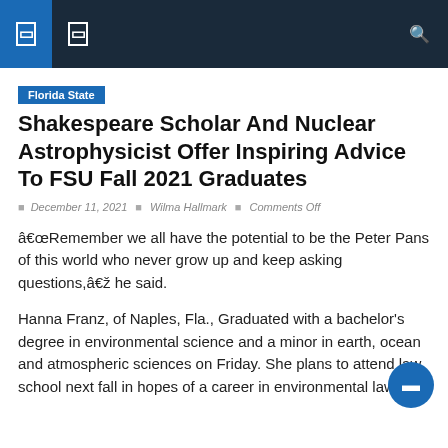Navigation bar with menu icons and search
Florida State
Shakespeare Scholar And Nuclear Astrophysicist Offer Inspiring Advice To FSU Fall 2021 Graduates
December 11, 2021  Wilma Hallmark  Comments Off
â€œRemember we all have the potential to be the Peter Pans of this world who never grow up and keep asking questions,â€� he said.
Hanna Franz, of Naples, Fla., Graduated with a bachelor’s degree in environmental science and a minor in earth, ocean and atmospheric sciences on Friday. She plans to attend law school next fall in hopes of a career in environmental law.